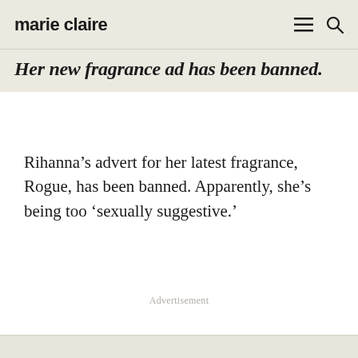marie claire
Her new fragrance ad has been banned.
Rihanna’s advert for her latest fragrance, Rogue, has been banned. Apparently, she’s being too ‘sexually suggestive.’
Advertisement